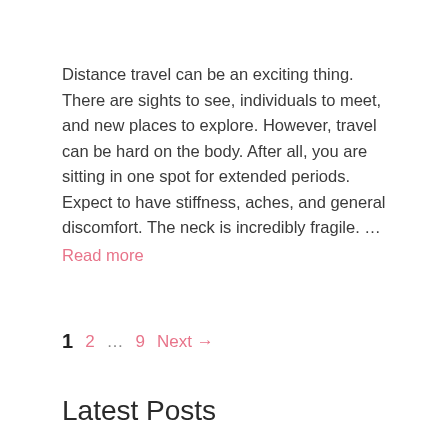Distance travel can be an exciting thing. There are sights to see, individuals to meet, and new places to explore. However, travel can be hard on the body. After all, you are sitting in one spot for extended periods. Expect to have stiffness, aches, and general discomfort. The neck is incredibly fragile. ... Read more
1  2  ...  9  Next →
Latest Posts